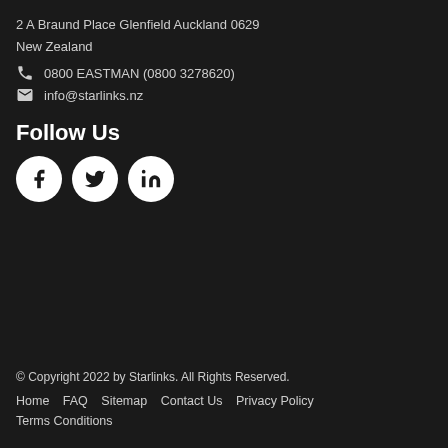2 A Braund Place Glenfield Auckland 0629
New Zealand
0800 EASTMAN (0800 3278620)
info@starlinks.nz
Follow Us
[Figure (infographic): Three social media icon circles: Facebook (f), Twitter (bird), LinkedIn (in)]
© Copyright 2022 by Starlinks. All Rights Reserved.
Home   FAQ   Sitemap   Contact Us   Privacy Policy
Terms Conditions